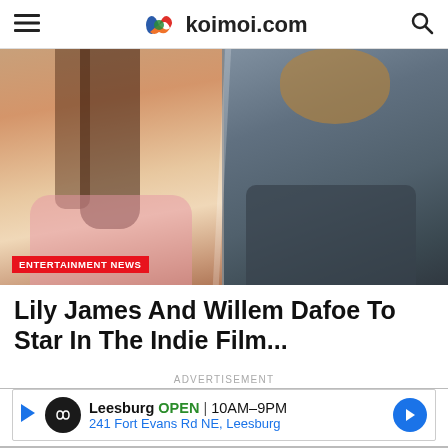koimoi.com
[Figure (photo): Split photo: on the left, a young woman with long brown hair wearing a pink floral dress; on the right, an older man with wavy blond/brown hair wearing a dark grey shirt. ENTERTAINMENT NEWS badge overlaid bottom-left.]
Lily James And Willem Dafoe To Star In The Indie Film...
ADVERTISEMENT
Leesburg OPEN 10AM–9PM 241 Fort Evans Rd NE, Leesburg